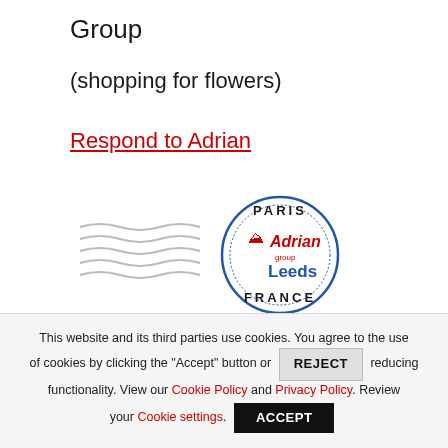Group
(shopping for flowers)
Respond to Adrian
[Figure (logo): A circular postmark stamp reading PARIS at top and FRANCE at bottom with 'Adrian group Leeds' text inside in red and blue, accompanied by wavy cancellation lines to the left.]
This website and its third parties use cookies. You agree to the use of cookies by clicking the "Accept" button or REJECT reducing functionality. View our Cookie Policy and Privacy Policy. Review your Cookie settings. ACCEPT